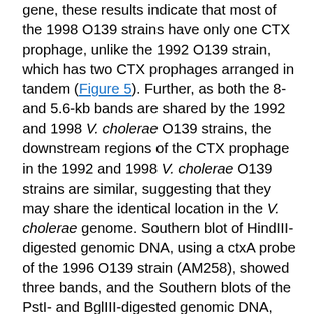gene, these results indicate that most of the 1998 O139 strains have only one CTX prophage, unlike the 1992 O139 strain, which has two CTX prophages arranged in tandem (Figure 5). Further, as both the 8- and 5.6-kb bands are shared by the 1992 and 1998 V. cholerae O139 strains, the downstream regions of the CTX prophage in the 1992 and 1998 V. cholerae O139 strains are similar, suggesting that they may share the identical location in the V. cholerae genome. Southern blot of HindIII-digested genomic DNA, using a ctxA probe of the 1996 O139 strain (AM258), showed three bands, and the Southern blots of the PstI- and BglIII-digested genomic DNA, also using the ctxA probe, showed only two bands. As discussed (8,16), the strain has the same organization of the CTX prophage as the 1996-97 O139 strains isolated from Calcutta. It has three tandemly duplicated CTX prophages, with the second and third CTX prophages being new and